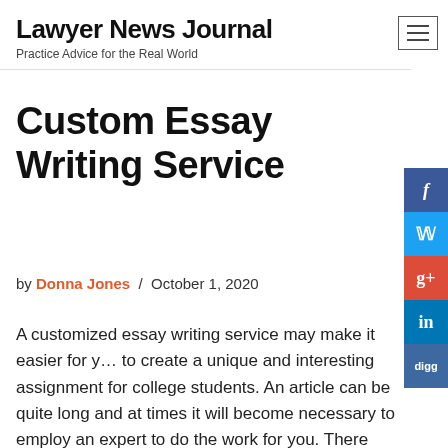Lawyer News Journal
Practice Advice for the Real World
Custom Essay Writing Service
by Donna Jones / October 1, 2020
A customized essay writing service may make it easier for you to create a unique and interesting assignment for college students. An article can be quite long and at times it will become necessary to employ an expert to do the work for you. There are several reasons that professional writers are needed